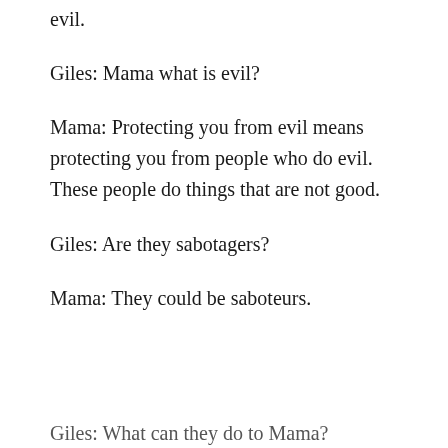evil.
Giles: Mama what is evil?
Mama: Protecting you from evil means protecting you from people who do evil. These people do things that are not good.
Giles: Are they sabotagers?
Mama: They could be saboteurs.
Giles: What can they do to Mama?